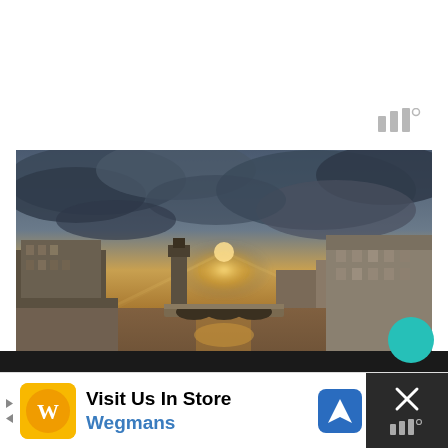[Figure (logo): App logo with three vertical bars and a degree symbol, gray color, top right]
[Figure (photo): Photograph of the Arno River in Florence, Italy at sunset, with buildings on both sides, a stone bridge in the background, dramatic cloudy sky with golden sunlight breaking through, dark moody tones]
[Figure (infographic): Advertisement bar at the bottom: Wegmans store ad with orange/gold circular logo, text 'Visit Us In Store' and 'Wegmans' in blue, a blue navigation arrow icon on the right, and a dark close/dismiss button with X on the far right with an app logo]